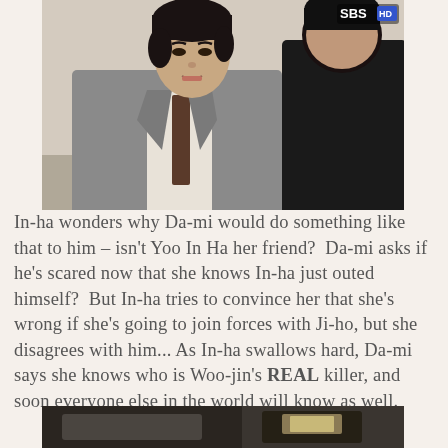[Figure (screenshot): Screenshot from Korean TV drama (SBS HD watermark visible). Two men in conversation — one facing camera wearing grey suit with brown tie, the other shown from behind in dark clothing.]
In-ha wonders why Da-mi would do something like that to him – isn't Yoo In Ha her friend?  Da-mi asks if he's scared now that she knows In-ha just outed himself?  But In-ha tries to convince her that she's wrong if she's going to join forces with Ji-ho, but she disagrees with him... As In-ha swallows hard, Da-mi says she knows who is Woo-jin's REAL killer, and soon everyone else in the world will know as well.
[Figure (screenshot): Partial screenshot from the same Korean TV drama showing a scene from a different angle, cropped at the bottom of the page.]